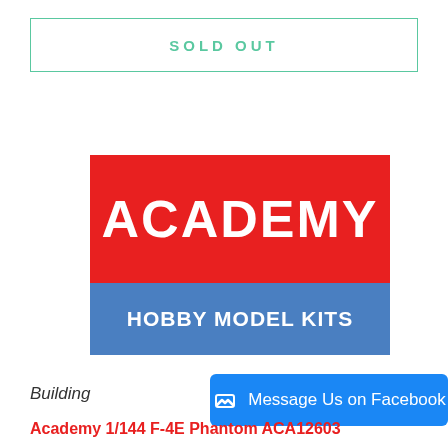SOLD OUT
[Figure (logo): Academy Hobby Model Kits logo — red rectangle with ACADEMY in white bold text on top, blue rectangle with HOBBY MODEL KITS in white bold text on bottom]
Building
Message Us on Facebook
Academy 1/144 F-4E Phantom ACA12603